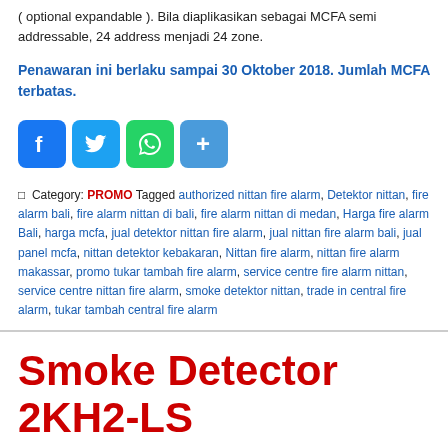( optional expandable ). Bila diaplikasikan sebagai MCFA semi addressable, 24 address menjadi 24 zone.
Penawaran ini berlaku sampai 30 Oktober 2018. Jumlah MCFA terbatas.
[Figure (other): Social media share icons: Facebook, Twitter, WhatsApp, Share]
Category: PROMO Tagged authorized nittan fire alarm, Detektor nittan, fire alarm bali, fire alarm nittan di bali, fire alarm nittan di medan, Harga fire alarm Bali, harga mcfa, jual detektor nittan fire alarm, jual nittan fire alarm bali, jual panel mcfa, nittan detektor kebakaran, Nittan fire alarm, nittan fire alarm makassar, promo tukar tambah fire alarm, service centre fire alarm nittan, service centre nittan fire alarm, smoke detektor nittan, trade in central fire alarm, tukar tambah central fire alarm
Smoke Detector 2KH2-LS
[Figure (other): Red footer banner with phone icon and NITTAN WA button with WhatsApp icon]